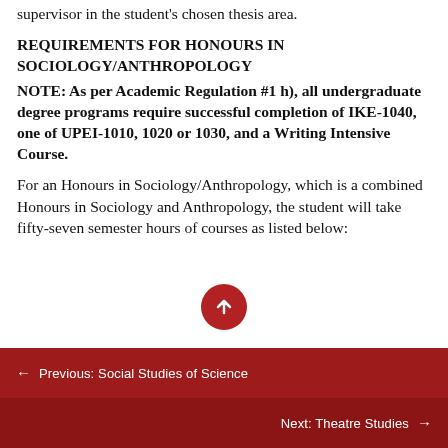supervisor in the student's chosen thesis area.
REQUIREMENTS FOR HONOURS IN SOCIOLOGY/ANTHROPOLOGY
NOTE: As per Academic Regulation #1 h), all undergraduate degree programs require successful completion of IKE-1040, one of UPEI-1010, 1020 or 1030, and a Writing Intensive Course.
For an Honours in Sociology/Anthropology, which is a combined Honours in Sociology and Anthropology, the student will take fifty-seven semester hours of courses as listed below:
← Previous: Social Studies of Science
Next: Theatre Studies →